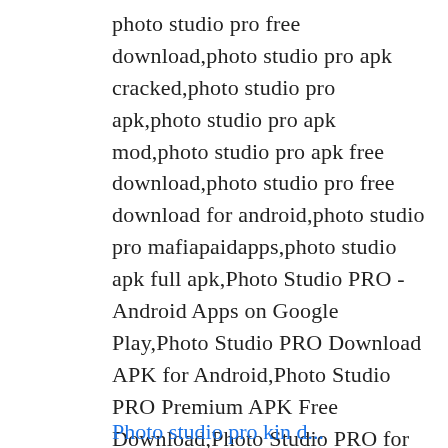photo studio pro free download,photo studio pro apk cracked,photo studio pro apk,photo studio pro apk mod,photo studio pro apk free download,photo studio pro free download for android,photo studio pro mafiapaidapps,photo studio apk full apk,Photo Studio PRO - Android Apps on Google Play,Photo Studio PRO Download APK for Android,Photo Studio PRO Premium APK Free Download,Photo Studio PRO for Android - Free download,Download photo studio pro apk mafiapaidapps,
Photo studio pro kin d...